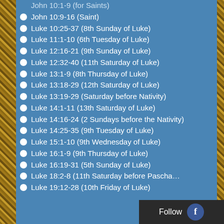John 10:1-9 (for Saints)
John 10:9-16 (Saint)
Luke 10:25-37 (8th Sunday of Luke)
Luke 11:1-10 (6th Tuesday of Luke)
Luke 12:16-21 (9th Sunday of Luke)
Luke 12:32-40 (11th Saturday of Luke)
Luke 13:1-9 (8th Thursday of Luke)
Luke 13:18-29 (12th Saturday of Luke)
Luke 13:19-29 (Saturday before Nativity)
Luke 14:1-11 (13th Saturday of Luke)
Luke 14:16-24 (2 Sundays before the Nativity)
Luke 14:25-35 (9th Tuesday of Luke)
Luke 15:1-10 (9th Wednesday of Luke)
Luke 16:1-9 (9th Thursday of Luke)
Luke 16:19-31 (5th Sunday of Luke)
Luke 18:2-8 (11th Saturday before Pascha)
Luke 19:12-28 (10th Friday of Luke)